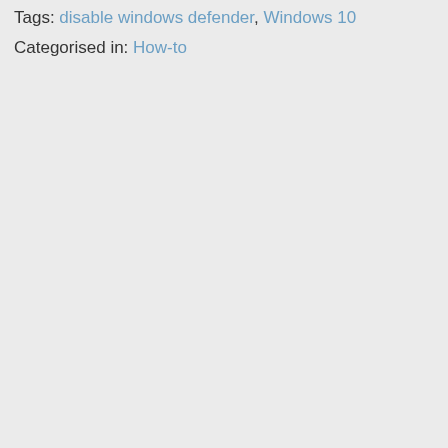Tags: disable windows defender, Windows 10
Categorised in: How-to